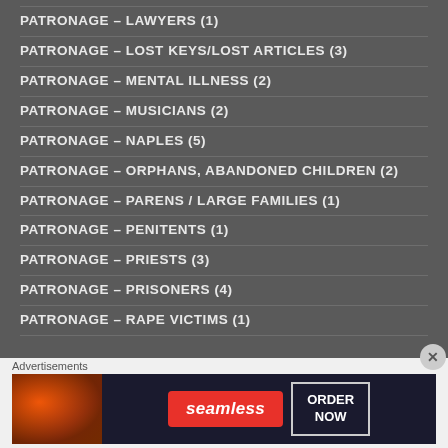PATRONAGE – LAWYERS (1)
PATRONAGE – LOST KEYS/LOST ARTICLES (3)
PATRONAGE – MENTAL ILLNESS (2)
PATRONAGE – MUSICIANS (2)
PATRONAGE – NAPLES (5)
PATRONAGE – ORPHANS, ABANDONED CHILDREN (2)
PATRONAGE – PARENS / LARGE FAMILIES (1)
PATRONAGE – PENITENTS (1)
PATRONAGE – PRIESTS (3)
PATRONAGE – PRISONERS (4)
PATRONAGE – RAPE VICTIMS (1)
Advertisements
[Figure (other): Seamless food delivery advertisement banner with pizza image, Seamless logo, and ORDER NOW button]